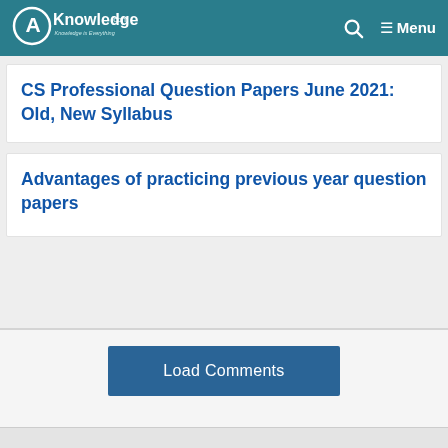AKnowledge.com — Menu
CS Professional Question Papers June 2021: Old, New Syllabus
Advantages of practicing previous year question papers
Load Comments